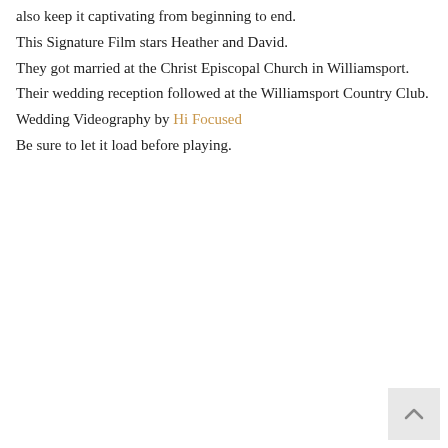also keep it captivating from beginning to end.
This Signature Film stars Heather and David.
They got married at the Christ Episcopal Church in Williamsport.
Their wedding reception followed at the Williamsport Country Club.
Wedding Videography by Hi Focused
Be sure to let it load before playing.